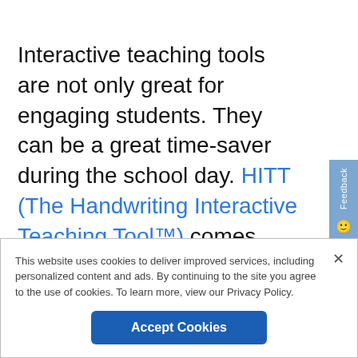Interactive teaching tools are not only great for engaging students. They can be a great time-saver during the school day. HITT (The Handwriting Interactive Teaching Tool™) comes equipped with video lessons, music, award-winning animations, and the ability to write on the interactive whiteboard. HITT also works with projectors.
This website uses cookies to deliver improved services, including personalized content and ads. By continuing to the site you agree to the use of cookies. To learn more, view our Privacy Policy.
Accept Cookies